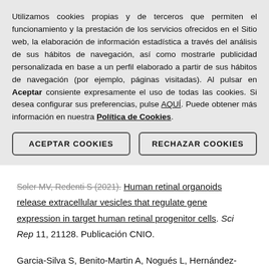Utilizamos cookies propias y de terceros que permiten el funcionamiento y la prestación de los servicios ofrecidos en el Sitio web, la elaboración de información estadística a través del análisis de sus hábitos de navegación, así como mostrarle publicidad personalizada en base a un perfil elaborado a partir de sus hábitos de navegación (por ejemplo, páginas visitadas). Al pulsar en Aceptar consiente expresamente el uso de todas las cookies. Si desea configurar sus preferencias, pulse AQUÍ. Puede obtener más información en nuestra Política de Cookies.
ACEPTAR COOKIES   RECHAZAR COOKIES
Soler MV, Redenti S (2021). Human retinal organoids release extracellular vesicles that regulate gene expression in target human retinal progenitor cells. Sci Rep 11, 21128. Publicación CNIO.
Garcia-Silva S, Benito-Martin A, Nogués L, Hernández-Barranco A, Mazariegos MS, Santos V,